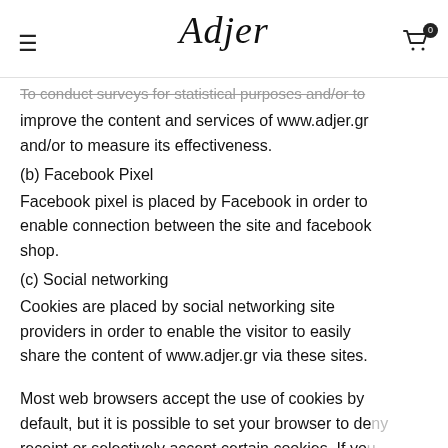Adjer — navigation header with hamburger menu and cart icon (0 items)
To conduct surveys for statistical purposes and/or to improve the content and services of www.adjer.gr and/or to measure its effectiveness.
(b) Facebook Pixel
Facebook pixel is placed by Facebook in order to enable connection between the site and facebook shop.
(c) Social networking
Cookies are placed by social networking site providers in order to enable the visitor to easily share the content of www.adjer.gr via these sites.
Most web browsers accept the use of cookies by default, but it is possible to set your browser to deny receipt or selectively accept certain cookies. If you